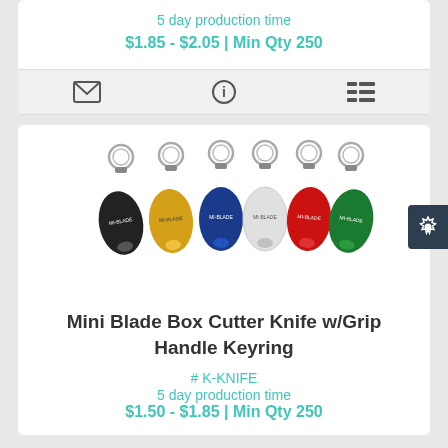5 day production time
$1.85 - $2.05 | Min Qty 250
[Figure (screenshot): Icon bar with email envelope icon, info icon, and list/menu icon on a light gray background]
[Figure (photo): Six mini blade box cutter knife keyrings in black, yellow, blue, white, red, and green colors, each with a keyring at the top and a blade at the bottom, printed with branding text]
Mini Blade Box Cutter Knife w/Grip Handle Keyring
# K-KNIFE
5 day production time
$1.50 - $1.85 | Min Qty 250